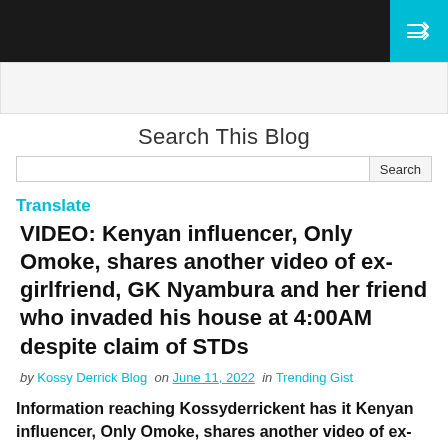[Figure (screenshot): Dark navigation header bar with shuffle/random icon button in teal/cyan on the right]
[Figure (screenshot): Light gray advertisement bar]
Search This Blog
Search (input field and button)
Translate
VIDEO: Kenyan influencer, Only Omoke, shares another video of ex-girlfriend, GK Nyambura and her friend who invaded his house at 4:00AM despite claim of STDs
by Kossy Derrick Blog on June 11, 2022 in Trending Gist
Information reaching Kossyderrickent has it Kenyan influencer, Only Omoke, shares another video of ex-